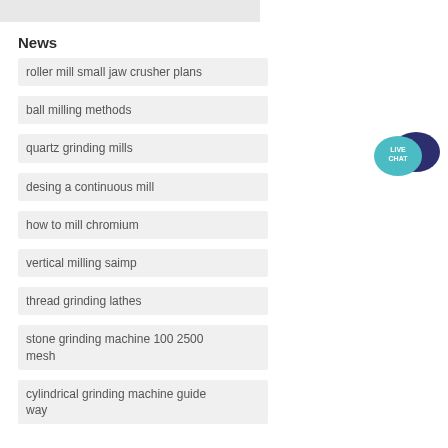News
roller mill small jaw crusher plans
ball milling methods
quartz grinding mills
desing a continuous mill
how to mill chromium
vertical milling saimp
thread grinding lathes
stone grinding machine 100 2500 mesh
cylindrical grinding machine guide way
[Figure (illustration): Live Chat button with two speech bubbles — teal and dark navy — with 'LIVE CHAT' text]